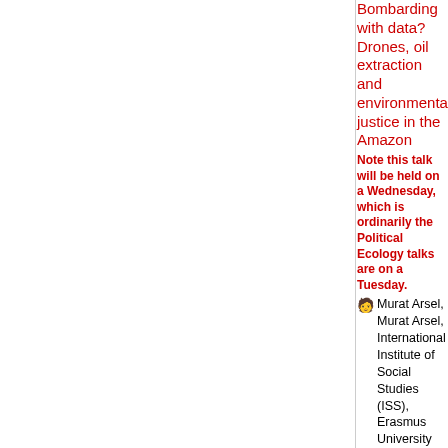Bombarding with data? Drones, oil extraction and environmental justice in the Amazon
Note this talk will be held on a Wednesday, which is ordinarily the Political Ecology talks are on a Tuesday.
👤 Murat Arsel, Murat Arsel, International Institute of Social Studies (ISS), Erasmus University Rotterdam
🏠 Small Lecture Theatre, Department of Geography
🕐 Wednesday 24 October 2018, 13:00-14:00
Infrastructural Geographies - Department of Geography
City Seminar: Tim Edensor: Commemorating the Past in Stone: Destabilizing Melbourne's Memoryscapes
👤 Tim Edensor, Manchester Metropolitan University
🏠 Seminar Room, Department of Geography, Downing Site.
🕐 Tuesday 23 October 2018, 17:30-19:00
Fieldwork Seminar: Methodologies in the 'field'
Managing participation and relationships in the field
👤 Tanvi Bhatkal, Department of Geography.
🏠 Seminar Room, Department of Geography, Downing Site.
🕐 Tuesday 23 October 2018, 11:00-12:00